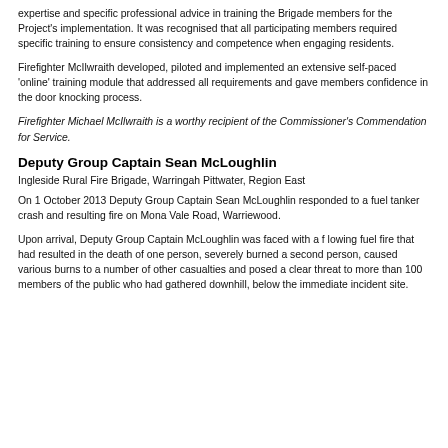expertise and specific professional advice in training the Brigade members for the Project's implementation. It was recognised that all participating members required specific training to ensure consistency and competence when engaging residents.
Firefighter McIlwraith developed, piloted and implemented an extensive self-paced 'online' training module that addressed all requirements and gave members confidence in the door knocking process.
Firefighter Michael McIlwraith is a worthy recipient of the Commissioner's Commendation for Service.
Deputy Group Captain Sean McLoughlin
Ingleside Rural Fire Brigade, Warringah Pittwater, Region East
On 1 October 2013 Deputy Group Captain Sean McLoughlin responded to a fuel tanker crash and resulting fire on Mona Vale Road, Warriewood.
Upon arrival, Deputy Group Captain McLoughlin was faced with a f lowing fuel fire that had resulted in the death of one person, severely burned a second person, caused various burns to a number of other casualties and posed a clear threat to more than 100 members of the public who had gathered downhill, below the immediate incident site.